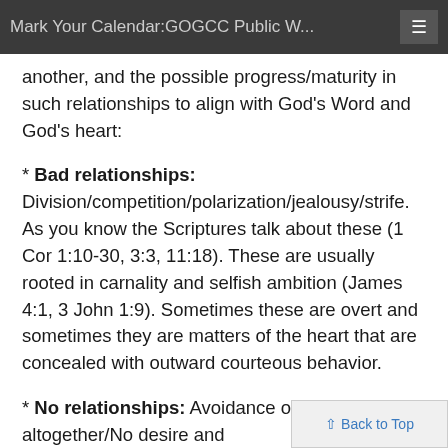Mark Your Calendar:GOGCC Public W...
another, and the possible progress/maturity in such relationships to align with God's Word and God's heart:
* Bad relationships: Division/competition/polarization/jealousy/strife. As you know the Scriptures talk about these (1 Cor 1:10-30, 3:3, 11:18). These are usually rooted in carnality and selfish ambition (James 4:1, 3 John 1:9). Sometimes these are overt and sometimes they are matters of the heart that are concealed with outward courteous behavior.
* No relationships: Avoidance of relationships altogether/No desire and connection to other Christians